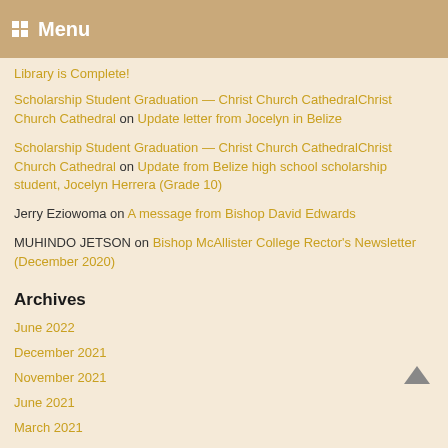Menu
Library is Complete!
Scholarship Student Graduation — Christ Church CathedralChrist Church Cathedral on Update letter from Jocelyn in Belize
Scholarship Student Graduation — Christ Church CathedralChrist Church Cathedral on Update from Belize high school scholarship student, Jocelyn Herrera (Grade 10)
Jerry Eziowoma on A message from Bishop David Edwards
MUHINDO JETSON on Bishop McAllister College Rector's Newsletter (December 2020)
Archives
June 2022
December 2021
November 2021
June 2021
March 2021